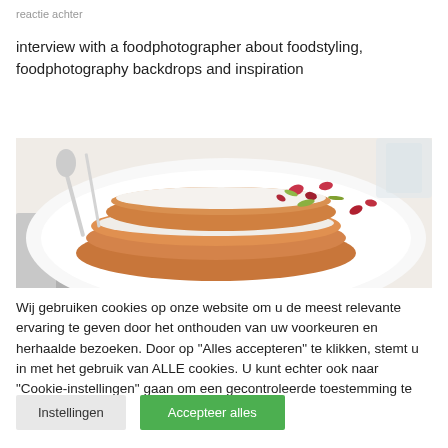reactie achter
interview with a foodphotographer about foodstyling, foodphotography backdrops and inspiration
[Figure (photo): Close-up food photo showing decorated pastries or cakes on a white plate, with floral garnishes, silverware visible in background]
Wij gebruiken cookies op onze website om u de meest relevante ervaring te geven door het onthouden van uw voorkeuren en herhaalde bezoeken. Door op "Alles accepteren" te klikken, stemt u in met het gebruik van ALLE cookies. U kunt echter ook naar "Cookie-instellingen" gaan om een gecontroleerde toestemming te geven.
Instellingen
Accepteer alles